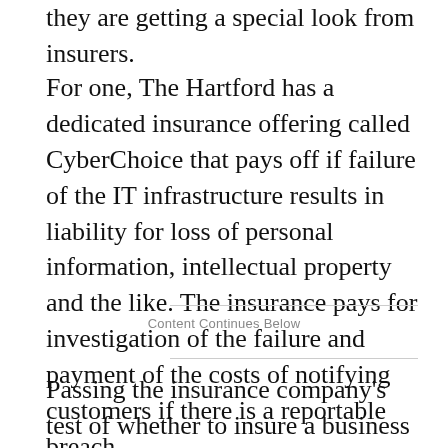they are getting a special look from insurers.
For one, The Hartford has a dedicated insurance offering called CyberChoice that pays off if failure of the IT infrastructure results in liability for loss of personal information, intellectual property and the like. The insurance pays for investigation of the failure and payment of the costs of notifying customers if there is a reportable breach.
Content Continues Below
Passing the insurance company's test of whether to insure a business is not easy, says Drew Bartkiewicz, vice president of technology and new media markets